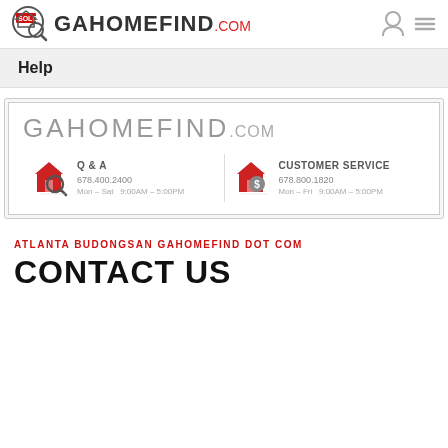[Figure (logo): GAHomefind.com logo with house/magnifying glass icon and GAHOMEFIND.COM text]
Help
[Figure (infographic): GAHomefind.com contact card showing Q&A (678.400.2400, Mon-Sat 9:00AM-5:00PM) and Customer Service (678.800.1820, Mon-Fri 9:00AM-5:00PM)]
ATLANTA BUDONGSAN GAHOMEFIND DOT COM
CONTACT US